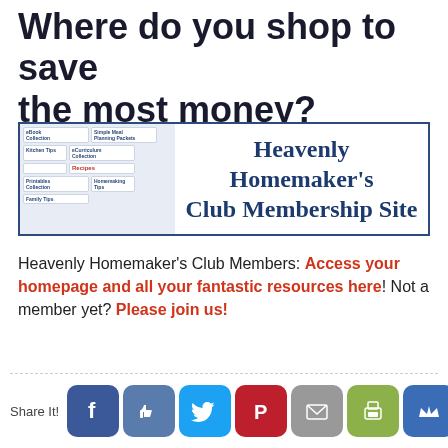Where do you shop to save the most money?
[Figure (illustration): Heavenly Homemaker's Club Membership Site banner with illustrated book/resource thumbnails on the left and stylized text on the right]
Heavenly Homemaker's Club Members: Access your homepage and all your fantastic resources here! Not a member yet? Please join us!
[Figure (infographic): Social sharing buttons row: Facebook, Like, Twitter, Pinterest, Email, Print, Crown]